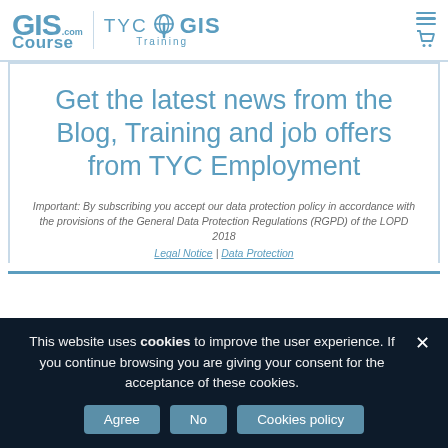GISCourse.com | TYC GIS Training
Get the latest news from the Blog, Training and job offers from TYC Employment
Important: By subscribing you accept our data protection policy in accordance with the provisions of the General Data Protection Regulations (RGPD) of the LOPD 2018
Legal Notice | Data Protection
This website uses cookies to improve the user experience. If you continue browsing you are giving your consent for the acceptance of these cookies.
Agree | No | Cookies policy